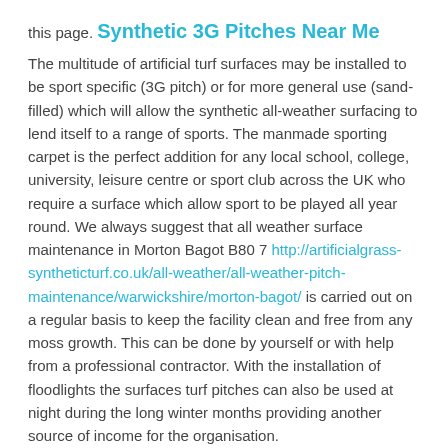this page.
Synthetic 3G Pitches Near Me
The multitude of artificial turf surfaces may be installed to be sport specific (3G pitch) or for more general use (sand-filled) which will allow the synthetic all-weather surfacing to lend itself to a range of sports. The manmade sporting carpet is the perfect addition for any local school, college, university, leisure centre or sport club across the UK who require a surface which allow sport to be played all year round. We always suggest that all weather surface maintenance in Morton Bagot B80 7 http://artificialgrass-syntheticturf.co.uk/all-weather/all-weather-pitch-maintenance/warwickshire/morton-bagot/ is carried out on a regular basis to keep the facility clean and free from any moss growth. This can be done by yourself or with help from a professional contractor. With the installation of floodlights the surfaces turf pitches can also be used at night during the long winter months providing another source of income for the organisation.
For advice and details on prices for all-weather surfaces, please contact us through the enquiry form on this page so we can help